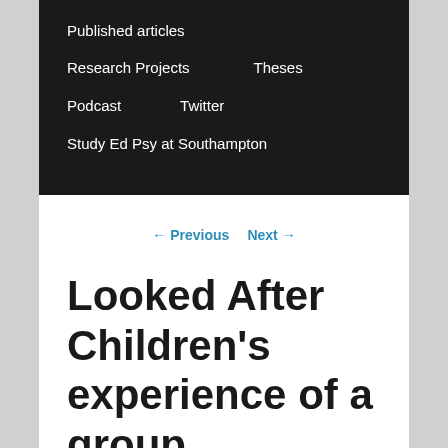Published articles
Research Projects   Theses
Podcast   Twitter
Study Ed Psy at Southampton
← Previous   Next →
Looked After Children's experience of a group